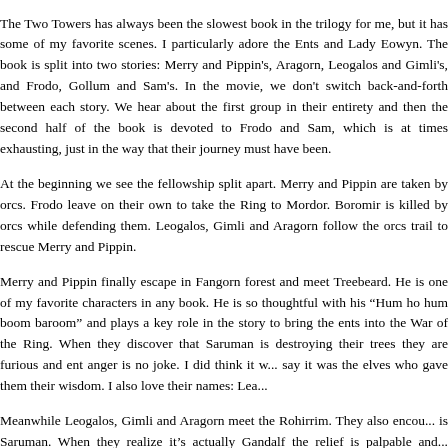The Two Towers has always been the slowest book in the trilogy for me, but it has some of my favorite scenes. I particularly adore the Ents and Lady Eowyn. The book is split into two stories: Merry and Pippin's, Aragorn, Leogalos and Gimli's, and Frodo, Gollum and Sam's. In the movie, we don't switch back-and-forth between each story. We hear about the first group in their entirety and then the second half of the book is devoted to Frodo and Sam, which is at times exhausting, just in the way that their journey must have been.
At the beginning we see the fellowship split apart. Merry and Pippin are taken by orcs. Frodo leave on their own to take the Ring to Mordor. Boromir is killed by orcs while defending them. Leogalos, Gimli and Aragorn follow the orcs trail to rescue Merry and Pippin.
Merry and Pippin finally escape in Fangorn forest and meet Treebeard. He is one of my favorite characters in any book. He is so thoughtful with his "Hum ho hum boom baroom" and plays a key role in the story to bring the ents into the War of the Ring. When they discover that Saruman is destroying their trees they are furious and ent anger is no joke. I did think it was interesting that they say it was the elves who gave them their wisdom. I also love their names: Lea...
Meanwhile Leogalos, Gimli and Aragorn meet the Rohirrim. They also encounter an old man who is Saruman. When they realize it's actually Gandalf the relief is palpable and as a reader I was thrilled to see him again. When they go all travel to Edoras to meet King Théoden and see how dire the situation in Rohan has become. We get to meet Théoden's niece, Eowyn, one of my favorite characters in literature.
This book also contains the destruction of Isengard, Saruman's stronghold. His voice is one of his powers. He can put his listeners under his spell with his words, but he doesn't consider Middle Earth is worthy of considering a foe. His neglect to consider the ents leads...